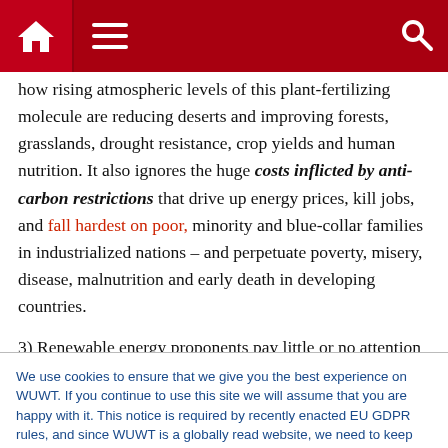Navigation bar with home, menu, and search icons
how rising atmospheric levels of this plant-fertilizing molecule are reducing deserts and improving forests, grasslands, drought resistance, crop yields and human nutrition. It also ignores the huge costs inflicted by anti-carbon restrictions that drive up energy prices, kill jobs, and fall hardest on poor, minority and blue-collar families in industrialized nations – and perpetuate poverty, misery, disease, malnutrition and early death in developing countries.
3) Renewable energy proponents pay little or no attention to the
We use cookies to ensure that we give you the best experience on WUWT. If you continue to use this site we will assume that you are happy with it. This notice is required by recently enacted EU GDPR rules, and since WUWT is a globally read website, we need to keep the bureaucrats off our case! Cookie Policy
We properly insist on multiple detailed studies of every oil, gas,